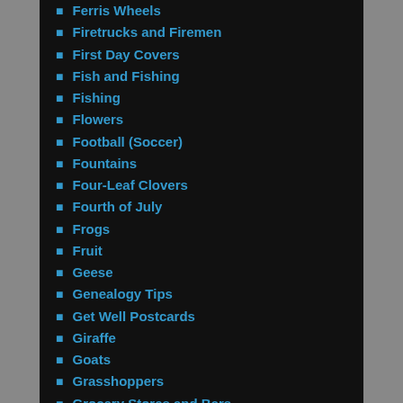Ferris Wheels
Firetrucks and Firemen
First Day Covers
Fish and Fishing
Fishing
Flowers
Football (Soccer)
Fountains
Four-Leaf Clovers
Fourth of July
Frogs
Fruit
Geese
Genealogy Tips
Get Well Postcards
Giraffe
Goats
Grasshoppers
Grocery Stores and Bars
Groups
Hand-drawn or painted cards